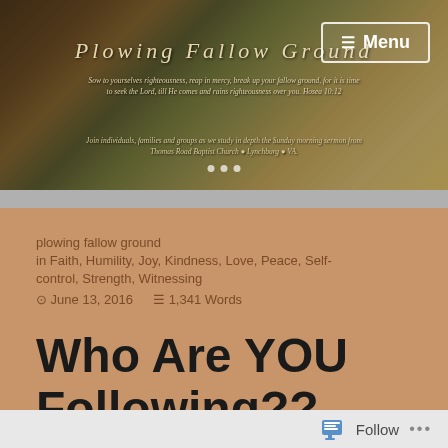[Figure (photo): Website header banner showing a farm field with autumn trees in the background and a white church visible. Text overlay reads 'Plowing Fallow Ground' with a scripture quote and description of the blog.]
Menu
plowing fallow ground
in Faith, Humility, Joy, Kindness, Love, Peace, Self-control, Strength, Witnessing
⊙ June 13, 2016    ≡ 1,341 Words
Who Are YOU Following??
Follow ...